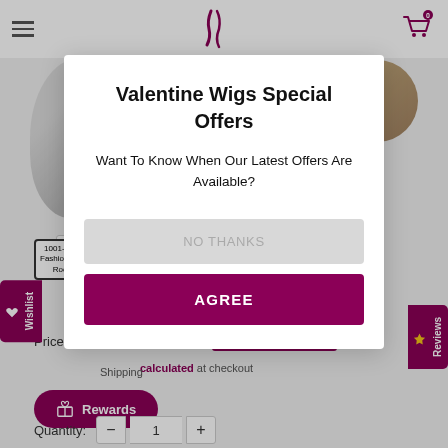[Figure (screenshot): E-commerce website background showing header with hamburger menu, logo, cart icon, product images, color swatches, price and rewards section, partially visible behind a modal popup overlay.]
Valentine Wigs Special Offers
Want To Know When Our Latest Offers Are Available?
NO THANKS
AGREE
1001-23+14 Fashion White Rooted
1001rooted
Price:  £220.00  £209.00  Price Ex VAT £174.17
Shipping calculated at checkout
Rewards
Quantity:  −  1  +